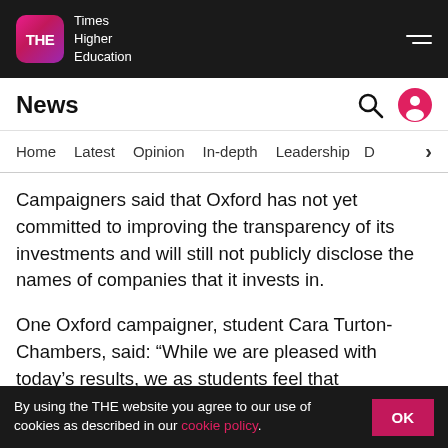Times Higher Education
News
Home | Latest | Opinion | In-depth | Leadership | D
Campaigners said that Oxford has not yet committed to improving the transparency of its investments and will still not publicly disclose the names of companies that it invests in.
One Oxford campaigner, student Cara Turton-Chambers, said: “While we are pleased with today’s results, we as students feel that transparency is an issue within the university structures. Full disclosure of the university’s investments should only confirm what
By using the THE website you agree to our use of cookies as described in our cookie policy.